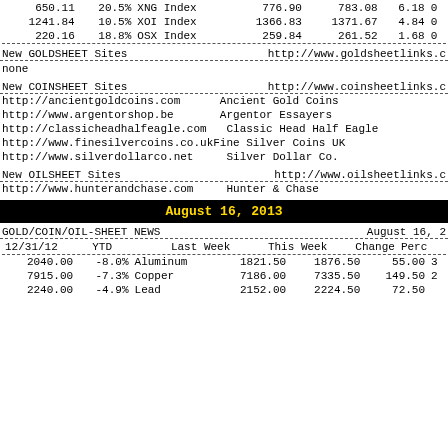| 12/31 | YTD | Name | Last Week | This Week | Change | Perc |
| --- | --- | --- | --- | --- | --- | --- |
| 650.11 | 20.5% | XNG Index | 776.90 | 783.08 | 6.18 | 0 |
| 1241.84 | 10.5% | XOI Index | 1366.83 | 1371.67 | 4.84 | 0 |
| 220.16 | 18.8% | OSX Index | 259.84 | 261.52 | 1.68 | 0 |
New GOLDSHEET Sites    http://www.goldsheetlinks.c
none
New COINSHEET Sites    http://www.coinsheetlinks.c
http://ancientgoldcoins.com          Ancient Gold Coins
http://www.argentorshop.be           Argentor Essayers
http://classicheadhalfeagle.com      Classic Head Half Eagle
http://www.finesilvercoins.co.ukFine Silver Coins UK
http://www.silverdollarco.net        Silver Dollar Co.
New OILSHEET Sites     http://www.oilsheetlinks.c
http://www.hunterandchase.com        Hunter & Chase
August 16, 2013
GOLD/COIN/OIL-SHEET NEWS                        August 16, 2
| 12/31/12 | YTD |  | Last Week | This Week | Change | Perc |
| --- | --- | --- | --- | --- | --- | --- |
| 2040.00 | -8.0% | Aluminum | 1821.50 | 1876.50 | 55.00 | 3 |
| 7915.00 | -7.3% | Copper | 7186.00 | 7335.50 | 149.50 | 2 |
| 2240.00 | -4.9% | Lead | 2152.00 | 2224.50 | 72.50 |  |